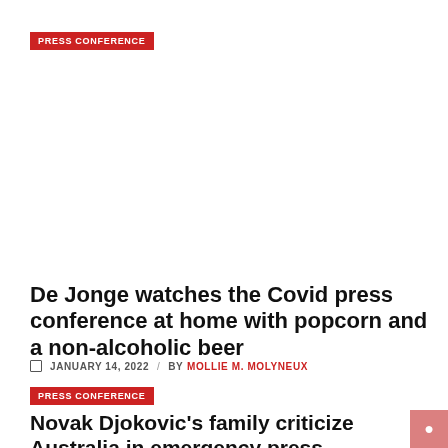PRESS CONFERENCE
[Figure (photo): Large image placeholder area (white/blank) related to the article about De Jonge watching the Covid press conference]
De Jonge watches the Covid press conference at home with popcorn and a non-alcoholic beer
JANUARY 14, 2022 / BY MOLLIE M. MOLYNEUX
PRESS CONFERENCE
Novak Djokovic's family criticize Australia in emergency press conference as protest erupts in Serbia